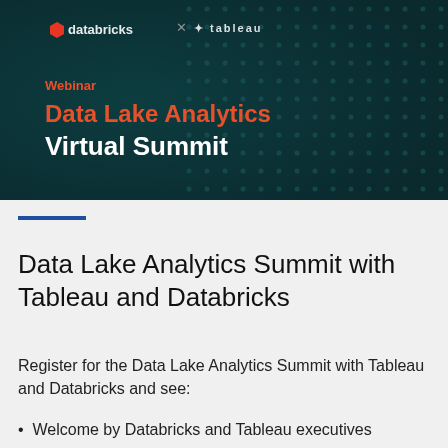[Figure (illustration): Webinar banner image for Data Lake Analytics Virtual Summit. Dark teal background with dotted pattern. Shows logos for Databricks and Tableau at the top. Text reads 'Webinar' in orange, 'Data Lake Analytics' in large orange bold font, and 'Virtual Summit' in large white bold font.]
Data Lake Analytics Summit with Tableau and Databricks
Register for the Data Lake Analytics Summit with Tableau and Databricks and see:
Welcome by Databricks and Tableau executives